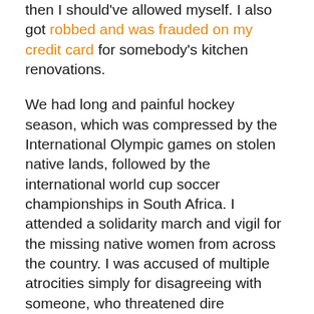then I should've allowed myself. I also got robbed and was frauded on my credit card for somebody's kitchen renovations.
We had long and painful hockey season, which was compressed by the International Olympic games on stolen native lands, followed by the international world cup soccer championships in South Africa. I attended a solidarity march and vigil for the missing native women from across the country. I was accused of multiple atrocities simply for disagreeing with someone, who threatened dire consequences. I put my foot down on a few things.
The skid plate on my car needed to be replaced. I struggled with parking and snow removals. I got a parking fine. I worked very hard as a printer and complained about my lack of sleep and of the bullies in my past and what it's like to live with sleep apnea and